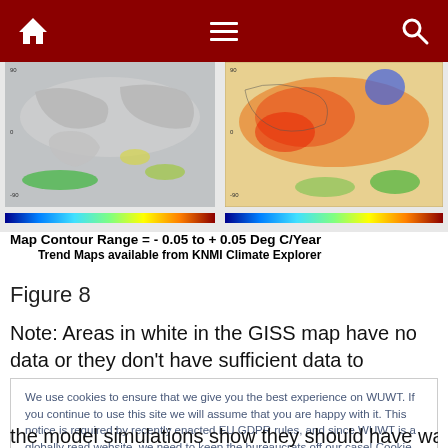Navigation bar with home, menu, and search icons
[Figure (map): Two world maps showing temperature trend data. Left map shows GISS data with mostly gray/white areas and some green/yellow patches. Right map shows KNMI Climate Explorer trend map with orange, red, blue and green color patterns. Color bars shown below each map.]
Map Contour Range = - 0.05 to + 0.05 Deg C/Year
Trend Maps available from KNMI Climate Explorer
Figure 8
Note: Areas in white in the GISS map have no data or they don't have sufficient data to perform the trend analyses,
We use cookies to ensure that we give you the best experience on WUWT. If you continue to use this site we will assume that you are happy with it. This notice is required by recently enacted EU GDPR rules, and since WUWT is a globally read website, we need to keep the bureaucrats off our case! Cookie Policy
the model simulations show they should have warmed